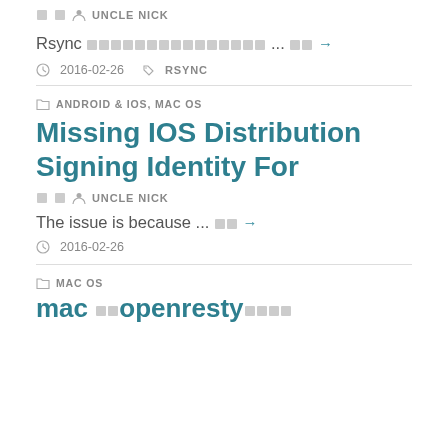□□ UNCLE NICK
Rsync □□□□□□□□□□□□□□□ ... □□ →
2016-02-26  RSYNC
ANDROID & IOS, MAC OS
Missing IOS Distribution Signing Identity For
□□ UNCLE NICK
The issue is because ... □□ →
2016-02-26
MAC OS
mac □□openresty□□□□